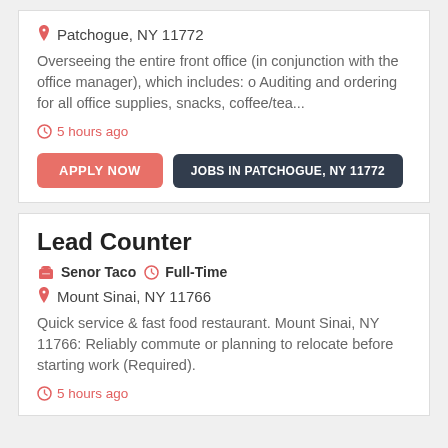Patchogue, NY 11772
Overseeing the entire front office (in conjunction with the office manager), which includes: o Auditing and ordering for all office supplies, snacks, coffee/tea...
5 hours ago
APPLY NOW
JOBS IN PATCHOGUE, NY 11772
Lead Counter
Senor Taco  Full-Time
Mount Sinai, NY 11766
Quick service & fast food restaurant. Mount Sinai, NY 11766: Reliably commute or planning to relocate before starting work (Required).
5 hours ago